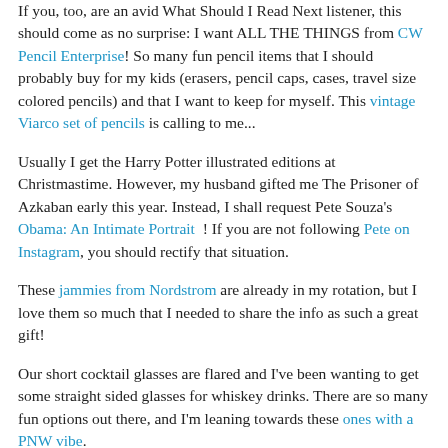If you, too, are an avid What Should I Read Next listener, this should come as no surprise: I want ALL THE THINGS from CW Pencil Enterprise! So many fun pencil items that I should probably buy for my kids (erasers, pencil caps, cases, travel size colored pencils) and that I want to keep for myself. This vintage Viarco set of pencils is calling to me...
Usually I get the Harry Potter illustrated editions at Christmastime. However, my husband gifted me The Prisoner of Azkaban early this year. Instead, I shall request Pete Souza's Obama: An Intimate Portrait ! If you are not following Pete on Instagram, you should rectify that situation.
These jammies from Nordstrom are already in my rotation, but I love them so much that I needed to share the info as such a great gift!
Our short cocktail glasses are flared and I've been wanting to get some straight sided glasses for whiskey drinks. There are so many fun options out there, and I'm leaning towards these ones with a PNW vibe.
So these if you are reading this and thinking well...